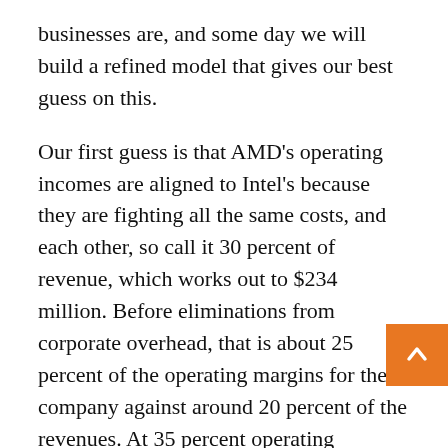businesses are, and some day we will build a refined model that gives our best guess on this.
Our first guess is that AMD's operating incomes are aligned to Intel's because they are fighting all the same costs, and each other, so call it 30 percent of revenue, which works out to $234 million. Before eliminations from corporate overhead, that is about 25 percent of the operating margins for the company against around 20 percent of the revenues. At 35 percent operating margins, the datacenter business would account for 30 percent of AMD's total operating profit, and at 40 percent operating margins, the datacenter business would account for 33.8 percent. These are the high-water marks, and are still very, very small compared to Intel's Data Center Group, which had $6.46 billion in sales and $1.95 billion in operating income in the same quarter. Intel's datacenter business is still 8.3X as large in